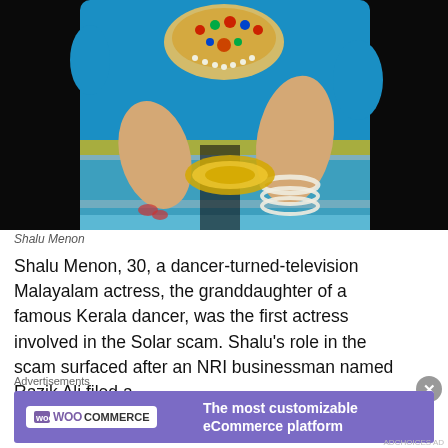[Figure (photo): A woman dressed in a blue traditional Indian dance costume (saree/blouse) with ornate jeweled necklace, pearl and gold bangles, and gold waist belt, posed in a dance stance against a dark background.]
Shalu Menon
Shalu Menon, 30, a dancer-turned-television Malayalam actress, the granddaughter of a famous Kerala dancer, was the first actress involved in the Solar scam. Shalu’s role in the scam surfaced after an NRI businessman named Razik Ali filed a
Advertisements
[Figure (other): WooCommerce advertisement banner: purple background with WooCommerce logo on left and text 'The most customizable eCommerce platform' on right.]